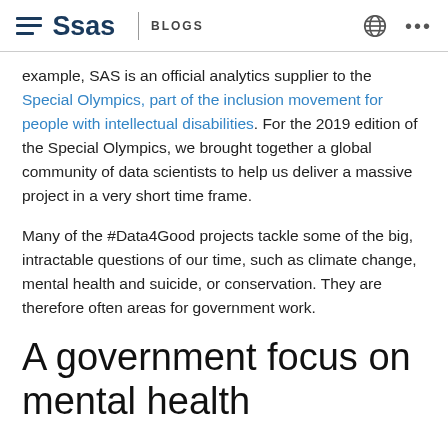SAS BLOGS
example, SAS is an official analytics supplier to the Special Olympics, part of the inclusion movement for people with intellectual disabilities. For the 2019 edition of the Special Olympics, we brought together a global community of data scientists to help us deliver a massive project in a very short time frame.
Many of the #Data4Good projects tackle some of the big, intractable questions of our time, such as climate change, mental health and suicide, or conservation. They are therefore often areas for government work.
A government focus on mental health